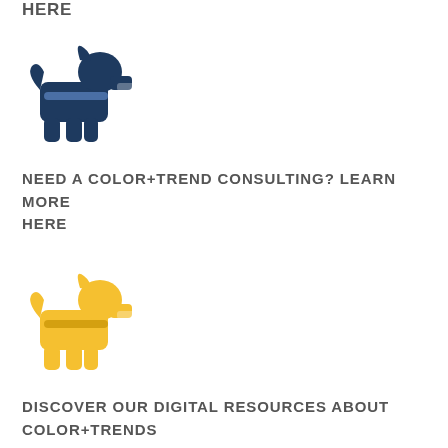HERE
[Figure (illustration): Navy blue dog icon (Scottie/terrier silhouette)]
NEED A COLOR+TREND CONSULTING? LEARN MORE HERE
[Figure (illustration): Golden/yellow dog icon (Scottie/terrier silhouette)]
DISCOVER OUR DIGITAL RESOURCES ABOUT COLOR+TRENDS